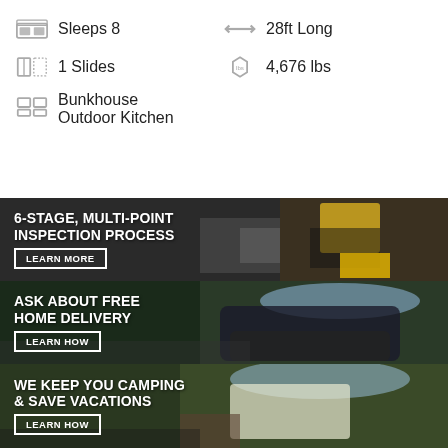Sleeps 8
28ft Long
1 Slides
4,676 lbs
Bunkhouse Outdoor Kitchen
[Figure (photo): 6-STAGE, MULTI-POINT INSPECTION PROCESS banner with LEARN MORE button, showing a mechanic with a tablet inspecting an RV]
[Figure (photo): ASK ABOUT FREE HOME DELIVERY banner with LEARN HOW button, showing a large motorhome on a road]
[Figure (photo): WE KEEP YOU CAMPING & SAVE VACATIONS banner with LEARN HOW button, showing a person and an RV outdoors]